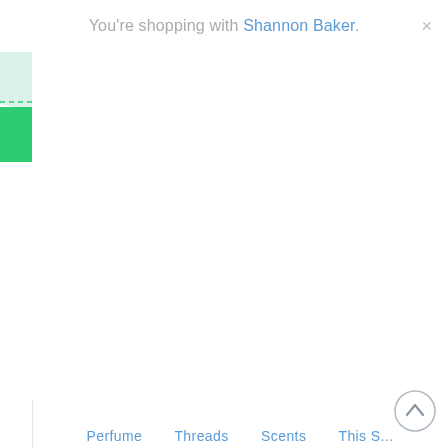You're shopping with Shannon Baker.
[Figure (illustration): Green NEW! ribbon/banner in the top-left corner of the page content area]
[Figure (illustration): Circular scroll-up button with upward chevron arrow, bottom-right corner]
Partial blue link text visible at the bottom of the page (cut off)